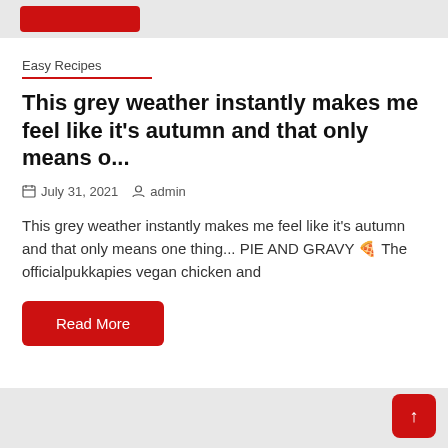Easy Recipes
This grey weather instantly makes me feel like it's autumn and that only means o...
July 31, 2021   admin
This grey weather instantly makes me feel like it's autumn and that only means one thing... PIE AND GRAVY 🍕 The officialpukkapies vegan chicken and
Read More